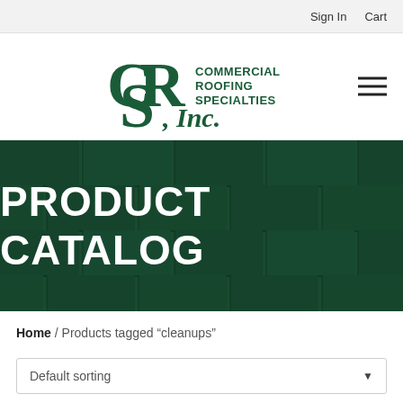Sign In  Cart
[Figure (logo): CRS Commercial Roofing Specialties, Inc. logo in dark green]
PRODUCT CATALOG
Home / Products tagged “cleanups”
Default sorting